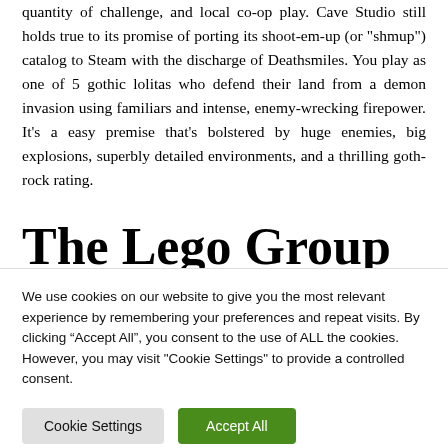quantity of challenge, and local co-op play. Cave Studio still holds true to its promise of porting its shoot-em-up (or “shmup”) catalog to Steam with the discharge of Deathsmiles. You play as one of 5 gothic lolitas who defend their land from a demon invasion using familiars and intense, enemy-wrecking firepower. It’s a easy premise that’s bolstered by huge enemies, big explosions, superbly detailed environments, and a thrilling goth-rock rating.
The Lego Group And
We use cookies on our website to give you the most relevant experience by remembering your preferences and repeat visits. By clicking “Accept All”, you consent to the use of ALL the cookies. However, you may visit "Cookie Settings" to provide a controlled consent.